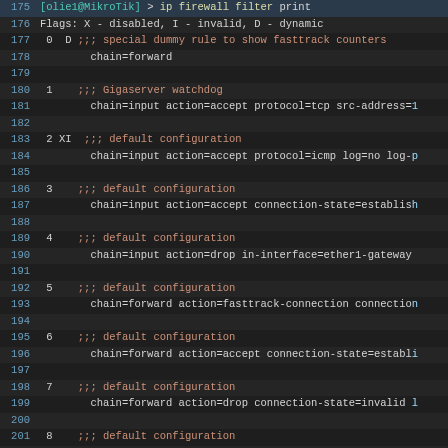[Figure (screenshot): Terminal/code screenshot showing MikroTik RouterOS firewall filter rules listing, with line numbers 175-205. Lines show Flags explanation and numbered firewall rules (0-8) with chain, action, protocol, and connection-state parameters. Dark themed terminal with monospace font.]